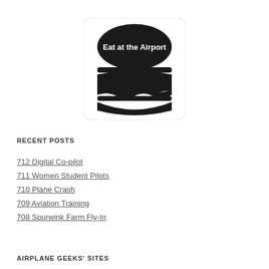[Figure (logo): Burger-shaped logo with text 'Eat at the Airport' in white on dark background]
RECENT POSTS
712 Digital Co-pilot
711 Women Student Pilots
710 Plane Crash
709 Aviation Training
708 Spurwink Farm Fly-In
AIRPLANE GEEKS' SITES